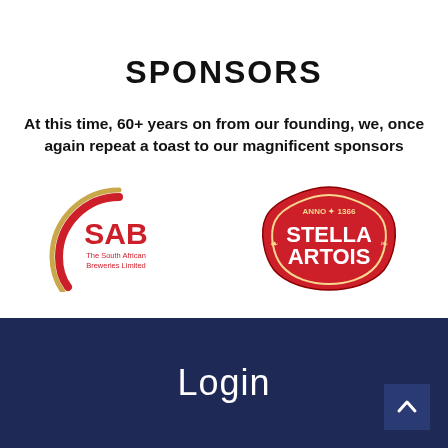SPONSORS
At this time, 60+ years on from our founding, we, once again repeat a toast to our magnificent sponsors
[Figure (logo): SAB – The South African Breweries Limited logo: red and gold crescent arc with red SAB text and small tagline]
[Figure (logo): Stella Artois logo: ornate red shield badge with STELLA ARTOIS text and ANNO 1366]
Login